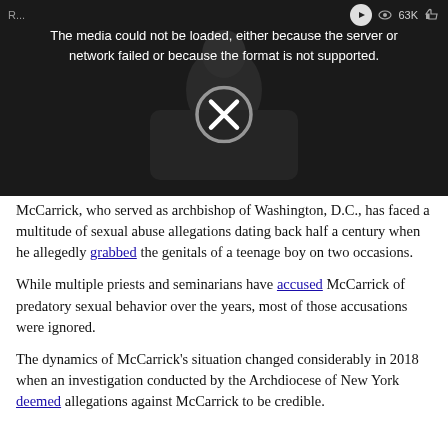[Figure (screenshot): Video player showing a dark-toned image of a man in a dark jacket, with a media error overlay message: 'The media could not be loaded, either because the server or network failed or because the format is not supported.' There is a large X symbol in a circle in the center, a play button in the top right, a view count of 63K, and a like icon.]
McCarrick, who served as archbishop of Washington, D.C., has faced a multitude of sexual abuse allegations dating back half a century when he allegedly grabbed the genitals of a teenage boy on two occasions.
While multiple priests and seminarians have accused McCarrick of predatory sexual behavior over the years, most of those accusations were ignored.
The dynamics of McCarrick's situation changed considerably in 2018 when an investigation conducted by the Archdiocese of New York deemed allegations against McCarrick to be credible.